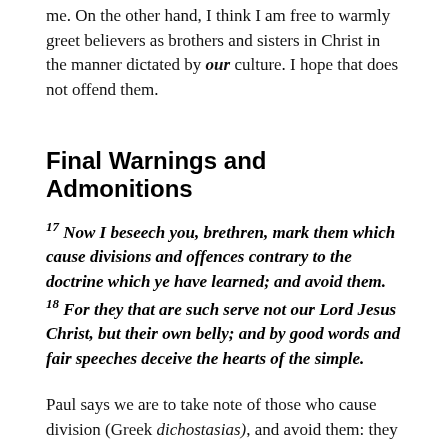me. On the other hand, I think I am free to warmly greet believers as brothers and sisters in Christ in the manner dictated by our culture. I hope that does not offend them.
Final Warnings and Admonitions
17 Now I beseech you, brethren, mark them which cause divisions and offences contrary to the doctrine which ye have learned; and avoid them. 18 For they that are such serve not our Lord Jesus Christ, but their own belly; and by good words and fair speeches deceive the hearts of the simple.
Paul says we are to take note of those who cause division (Greek dichostasias), and avoid them: they are not serving Christ, but self. They will deceive the hearts of the unlearned...that is who they target, and they do so